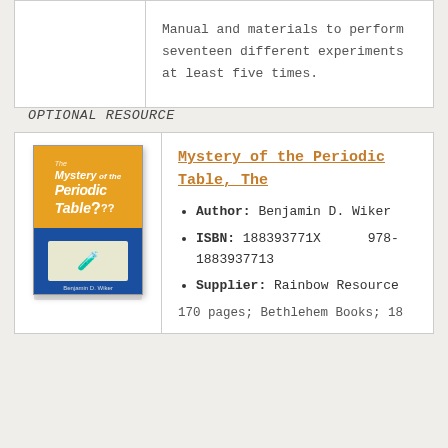Manual and materials to perform seventeen different experiments at least five times.
OPTIONAL RESOURCE
[Figure (illustration): Book cover of 'The Mystery of the Periodic Table' by Benjamin D. Wiker, orange top half with title text and question mark, blue bottom half with illustration of a scientist]
Mystery of the Periodic Table, The
Author: Benjamin D. Wiker
ISBN: 188393771X   978-1883937713
Supplier: Rainbow Resource
170 pages; Bethlehem Books; 18